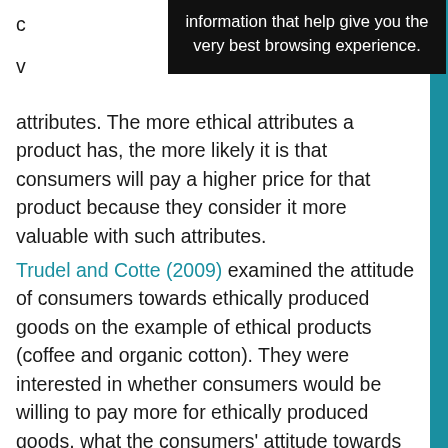[Figure (screenshot): Dark tooltip overlay showing text: 'information that help give you the very best browsing experience.']
attributes. The more ethical attributes a product has, the more likely it is that consumers will pay a higher price for that product because they consider it more valuable with such attributes.
Trudel and Cotte (2009) examined the attitude of consumers towards ethically produced goods on the example of ethical products (coffee and organic cotton). They were interested in whether consumers would be willing to pay more for ethically produced goods, what the consumers' attitude towards ethical goods is in relation to unethical ones, and whether consumers are willing to reward (pay more) producers who care about the ethical characteristics of goods. The results